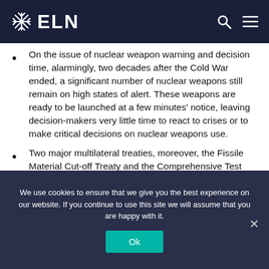ELN
On the issue of nuclear weapon warning and decision time, alarmingly, two decades after the Cold War ended, a significant number of nuclear weapons still remain on high states of alert. These weapons are ready to be launched at a few minutes' notice, leaving decision-makers very little time to react to crises or to make critical decisions on nuclear weapons use.
Two major multilateral treaties, moreover, the Fissile Material Cut-off Treaty and the Comprehensive Test
We use cookies to ensure that we give you the best experience on our website. If you continue to use this site we will assume that you are happy with it.